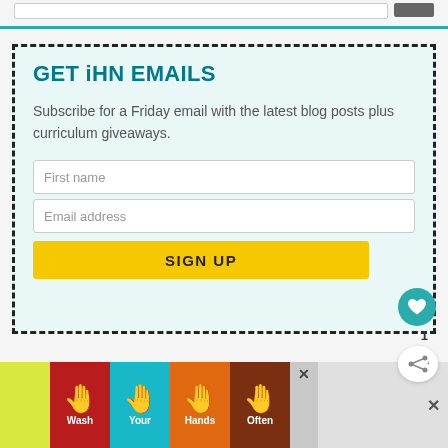GET iHN EMAILS
Subscribe for a Friday email with the latest blog posts plus curriculum giveaways.
First name
Email address
SIGN UP
[Figure (screenshot): Email signup widget with dashed border, teal title, input fields, and yellow SIGN UP button]
[Figure (illustration): Ad banner showing hands washing with text: Wash Your Hands Often]